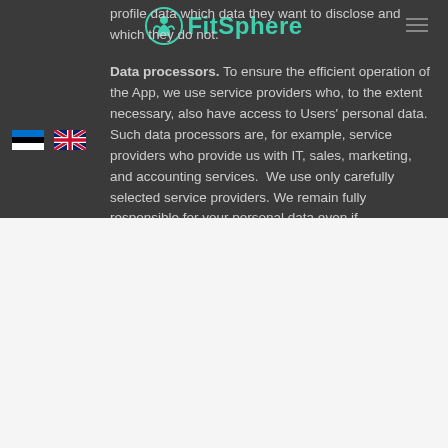[Figure (logo): FitSphere logo with teal circular figure icon and teal text 'FitSphere']
profile data which data they want to disclose and which they do not.
Data processors. To ensure the efficient operation of the App, we use service providers who, to the extent necessary, also have access to Users' personal data. Such data processors are, for example, service providers who provide us with IT, sales, marketing, and accounting services.  We use only carefully selected service providers. We remain fully responsible for your personal data even if
We use cookies on our website to give you the most relevant experience by remembering your preferences and repeat visits. By clicking "Accept All", you consent to the use of ALL the cookies. However, you may visit "Cookie Settings" to provide a controlled consent.
Cookie Settings
Accept All